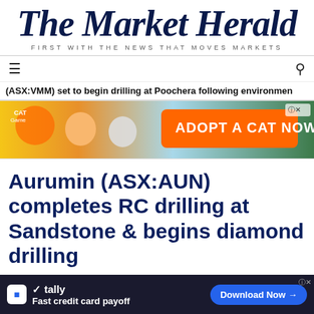The Market Herald
FIRST WITH THE NEWS THAT MOVES MARKETS
(ASX:VMM) set to begin drilling at Poochera following environmen
[Figure (photo): Cat game advertisement banner: 'ADOPT A CAT NOW' with cartoon cats]
Aurumin (ASX:AUN) completes RC drilling at Sandstone & begins diamond drilling
ASX News, Mining
ASX:A
[Figure (screenshot): Tally app advertisement: 'Fast credit card payoff' with Download Now button]